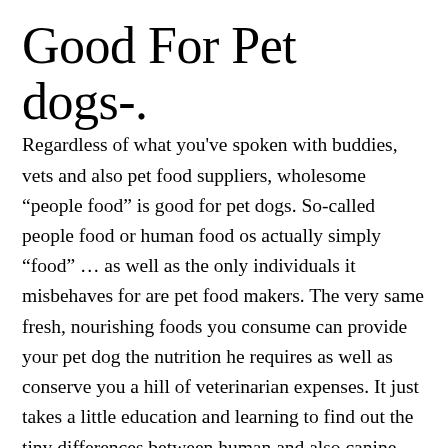Good For Pet dogs-.
Regardless of what you've spoken with buddies, vets and also pet food suppliers, wholesome “people food” is good for pet dogs. So-called people food or human food os actually simply “food” … as well as the only individuals it misbehaves for are pet food makers. The very same fresh, nourishing foods you consume can provide your pet dog the nutrition he requires as well as conserve you a hill of veterinarian expenses. It just takes a little education and learning to find out the tiny differences between human and also canine dietary requirements. (Hint: No onions, grapes or raisins. Rinse off rich